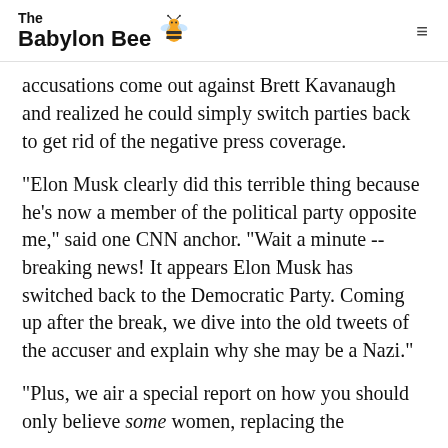The Babylon Bee
accusations come out against Brett Kavanaugh and realized he could simply switch parties back to get rid of the negative press coverage.
"Elon Musk clearly did this terrible thing because he's now a member of the political party opposite me," said one CNN anchor. "Wait a minute -- breaking news! It appears Elon Musk has switched back to the Democratic Party. Coming up after the break, we dive into the old tweets of the accuser and explain why she may be a Nazi."
"Plus, we air a special report on how you should only believe some women, replacing the